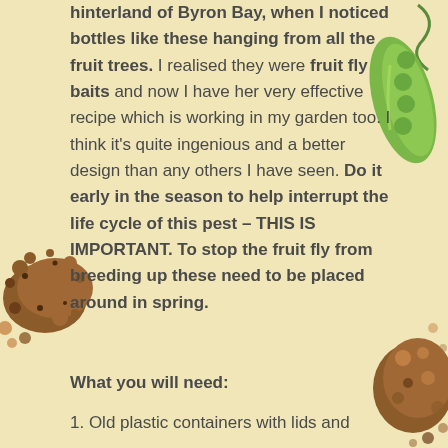[Figure (illustration): Green pea pod illustration in top right corner]
[Figure (illustration): Brown soil/dirt cluster with dark spots in bottom left area]
[Figure (illustration): Brown mushroom/compost illustration in bottom right corner]
hinterland of Byron Bay, when I noticed bottles like these hanging from all the fruit trees. I realised they were fruit fly baits and now I have her very effective recipe which is working in my garden too. I think it's quite ingenious and a better design than any others I have seen. Do it early in the season to help interrupt the life cycle of this pest – THIS IS IMPORTANT. To stop the fruit fly from breeding up these need to be placed around in spring.
What you will need:
1. Old plastic containers with lids and